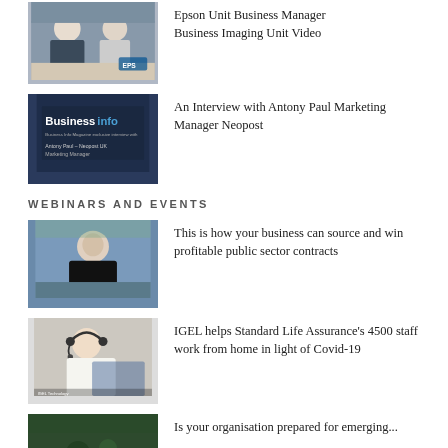[Figure (photo): Two men in business attire sitting at a table, Epson logo visible in background. Thumbnail for Epson Business Imaging Unit Video.]
Epson Unit Business Manager Business Imaging Unit Video
[Figure (photo): BusinessInfo magazine exclusive interview with Antony Paul – Neopost UK Marketing Manager. Dark background with text on screen.]
An Interview with Antony Paul Marketing Manager Neopost
WEBINARS AND EVENTS
[Figure (photo): Young man in black t-shirt working at a desk, smiling.]
This is how your business can source and win profitable public sector contracts
[Figure (photo): Woman with headset working at a computer, customer service representative.]
IGEL helps Standard Life Assurance's 4500 staff work from home in light of Covid-19
[Figure (photo): Partially visible thumbnail, dark green background.]
Is your organisation prepared for emerging...